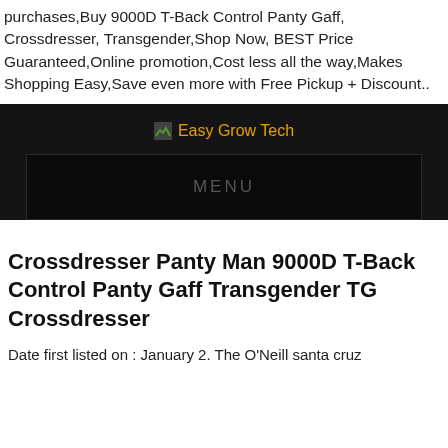purchases,Buy 9000D T-Back Control Panty Gaff, Crossdresser, Transgender,Shop Now, BEST Price Guaranteed,Online promotion,Cost less all the way,Makes Shopping Easy,Save even more with Free Pickup + Discount..
[Figure (logo): Dark banner with Easy Grow Tech logo in orange text and a small image icon, followed by a MENU navigation bar in dark background]
Crossdresser Panty Man 9000D T-Back Control Panty Gaff Transgender TG Crossdresser
Date first listed on : January 2. The O'Neill santa cruz